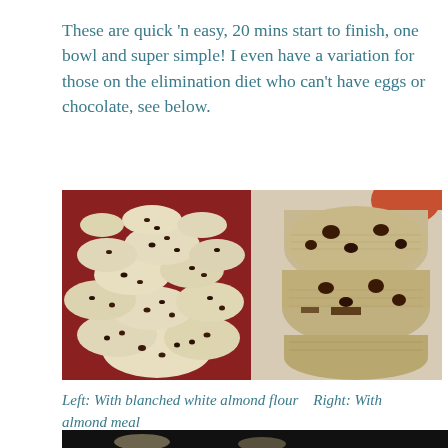These are quick 'n easy, 20 mins start to finish, one bowl and super simple! I even have a variation for those on the elimination diet who can't have eggs or chocolate, see below.
[Figure (photo): Two side-by-side photos of chocolate chip cookies. Left photo shows many rounded cookies with chocolate chips piled on a red plate (made with blanched white almond flour). Right photo shows a stack of three thicker, denser cookies with chocolate chips held by a hand (made with almond meal).]
Left: With blanched white almond flour   Right: With almond meal
[Figure (photo): Partial bottom strip showing the edge of another photo (dark background with cookies visible).]